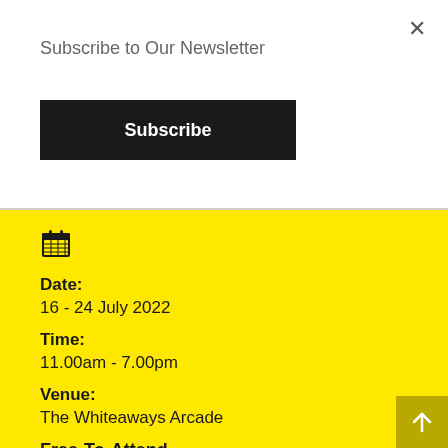×
Subscribe to Our Newsletter
Subscribe
[Figure (illustration): Calendar icon]
Date:
16 - 24 July 2022
Time:
11.00am - 7.00pm
Venue:
The Whiteaways Arcade
Free-To-Attend
[Figure (illustration): Scroll-to-top arrow button]